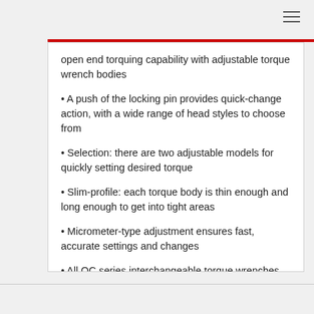open end torquing capability with adjustable torque wrench bodies
• A push of the locking pin provides quick-change action, with a wide range of head styles to choose from
• Selection: there are two adjustable models for quickly setting desired torque
• Slim-profile: each torque body is thin enough and long enough to get into tight areas
• Micrometer-type adjustment ensures fast, accurate settings and changes
• All QC series interchangeable torque wrenches are accurate ±4% clockwise and ±6% counterclockwise from 20-100% of full scale